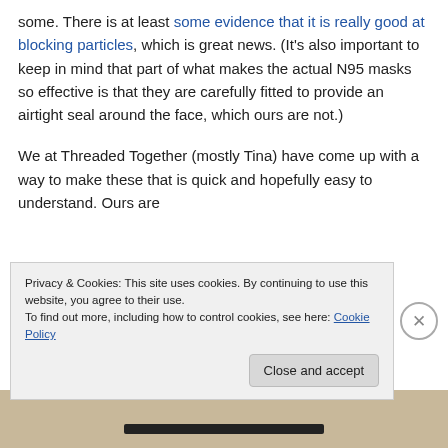some. There is at least some evidence that it is really good at blocking particles, which is great news. (It's also important to keep in mind that part of what makes the actual N95 masks so effective is that they are carefully fitted to provide an airtight seal around the face, which ours are not.)

We at Threaded Together (mostly Tina) have come up with a way to make these that is quick and hopefully easy to understand. Ours are
Privacy & Cookies: This site uses cookies. By continuing to use this website, you agree to their use.
To find out more, including how to control cookies, see here: Cookie Policy